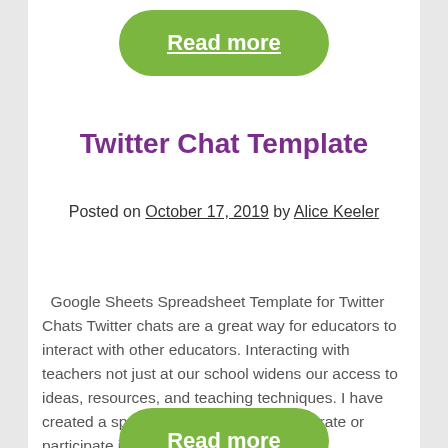[Figure (other): Green rounded button with 'Read more' text in white underlined]
Twitter Chat Template
Posted on October 17, 2019 by Alice Keeler
Google Sheets Spreadsheet Template for Twitter Chats Twitter chats are a great way for educators to interact with other educators. Interacting with teachers not just at our school widens our access to ideas, resources, and teaching techniques. I have created a spreadsheet to help you moderate or participate in a Twitter chat. Template alicekeeler.com/twitterchat…
[Figure (other): Green rounded button with 'Read more' text in white underlined, partially visible at bottom]